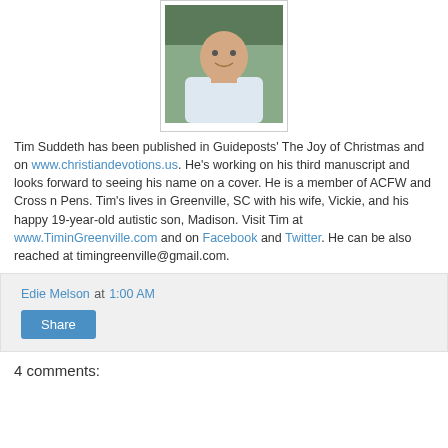[Figure (photo): Headshot photo of Tim Suddeth, a man smiling, wearing a white shirt, outdoors]
Tim Suddeth has been published in Guideposts' The Joy of Christmas and on www.christiandevotions.us. He's working on his third manuscript and looks forward to seeing his name on a cover. He is a member of ACFW and Cross n Pens. Tim's lives in Greenville, SC with his wife, Vickie, and his happy 19-year-old autistic son, Madison. Visit Tim at www.TiminGreenville.com and on Facebook and Twitter. He can be also reached at timingreenville@gmail.com.
Edie Melson at 1:00 AM
Share
4 comments: